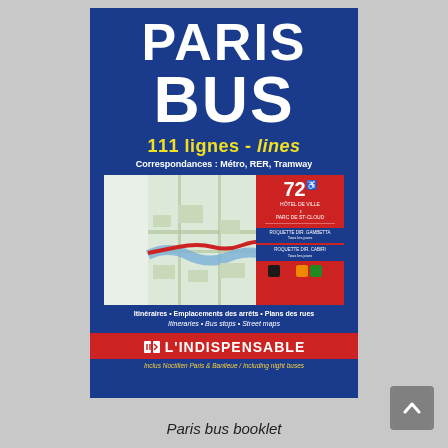[Figure (photo): Cover of Paris Bus booklet published by L'Indispensable. Dark blue cover with large white text reading PARIS BUS, yellow subtitle '111 lignes - lines', white text 'Correspondances: Métro, RER, Tramway', a map image showing bus route 72, text about itineraries, bus stops and street maps, red banner with L'INDISPENSABLE logo, and bottom note about Noctilien Paris & Banlieue night buses.]
Paris bus booklet